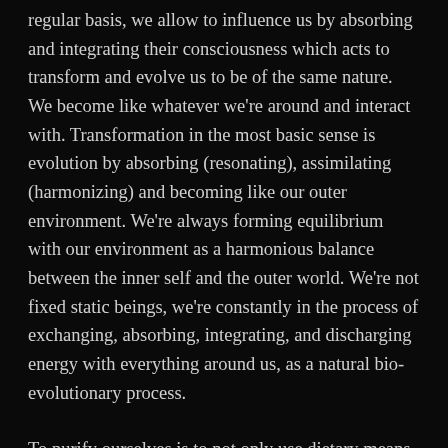regular basis, we allow to influence us by absorbing and integrating their consciousness which acts to transform and evolve us to be of the same nature. We become like whatever we're around and interact with. Transformation in the most basic sense is evolution by absorbing (resonating), assimilating (harmonizing) and becoming like our outer environment. We're always forming equilibrium with our environment as a harmonious balance between the inner self and the outer world. We're not fixed static beings, we're constantly in the process of exchanging, absorbing, integrating, and discharging energy with everything around us, as a natural bio-evolutionary process.
To purify ourselves is to not only use dietary means as both nutritive substance and morality, but also to purify our intentions, emotions, and psychological